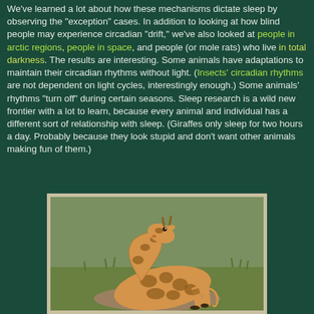We've learned a lot about how these mechanisms dictate sleep by observing the "exception" cases. In addition to looking at how blind people may experience circadian "drift," we've also looked at people in arctic regions, people in space, and people (or mole rats) who live in total darkness. The results are interesting. Some animals have adaptations to maintain their circadian rhythms without light. (Insects' circadian rhythms are not dependent on light cycles, interestingly enough.) Some animals' rhythms "turn off" during certain seasons. Sleep research is a wild new frontier with a lot to learn, because every animal and individual has a different sort of relationship with sleep. (Giraffes only sleep for two hours a day. Probably because they look stupid and don't want other animals making fun of them.)
[Figure (photo): A giraffe lying down on grass, with its neck curled back, resting. The giraffe has the typical brown and white patterned coat. Green grass is visible in the background.]